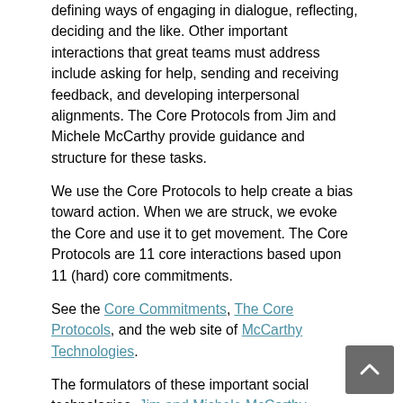defining ways of engaging in dialogue, reflecting, deciding and the like. Other important interactions that great teams must address include asking for help, sending and receiving feedback, and developing interpersonal alignments. The Core Protocols from Jim and Michele McCarthy provide guidance and structure for these tasks.
We use the Core Protocols to help create a bias toward action. When we are struck, we evoke the Core and use it to get movement. The Core Protocols are 11 core interactions based upon 11 (hard) core commitments.
See the Core Commitments, The Core Protocols, and the web site of McCarthy Technologies.
The formulators of these important social technologies, Jim and Michele McCarthy, periodically post important podcasts and blog entries here.